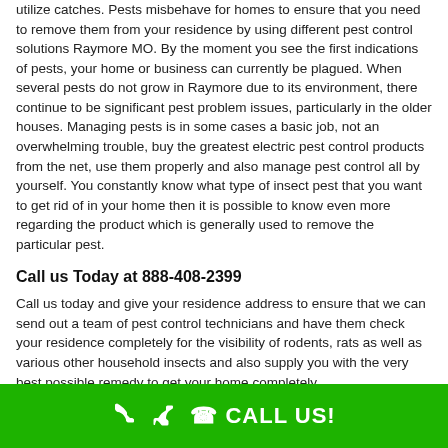utilize catches. Pests misbehave for homes to ensure that you need to remove them from your residence by using different pest control solutions Raymore MO. By the moment you see the first indications of pests, your home or business can currently be plagued. When several pests do not grow in Raymore due to its environment, there continue to be significant pest problem issues, particularly in the older houses. Managing pests is in some cases a basic job, not an overwhelming trouble, buy the greatest electric pest control products from the net, use them properly and also manage pest control all by yourself. You constantly know what type of insect pest that you want to get rid of in your home then it is possible to know even more regarding the product which is generally used to remove the particular pest.
Call us Today at 888-408-2399
Call us today and give your residence address to ensure that we can send out a team of pest control technicians and have them check your residence completely for the visibility of rodents, rats as well as various other household insects and also supply you with the very best possible remedy to get your home completely
CALL US!